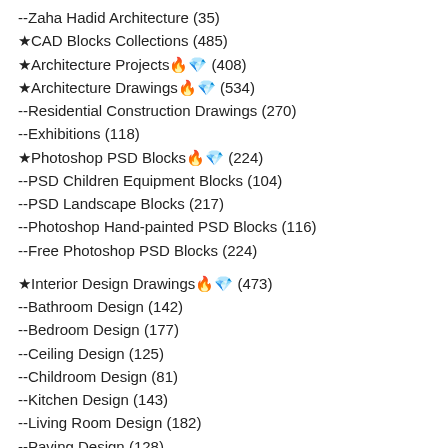--Zaha Hadid Architecture (35)
★CAD Blocks Collections (485)
★Architecture Projects🔥💎 (408)
★Architecture Drawings🔥💎 (534)
--Residential Construction Drawings (270)
--Exhibitions (118)
★Photoshop PSD Blocks🔥💎 (224)
--PSD Children Equipment Blocks (104)
--PSD Landscape Blocks (217)
--Photoshop Hand-painted PSD Blocks (116)
--Free Photoshop PSD Blocks (224)
★Interior Design Drawings🔥💎 (473)
--Bathroom Design (142)
--Bedroom Design (177)
--Ceiling Design (125)
--Childroom Design (81)
--Kitchen Design (143)
--Living Room Design (182)
--Paving Design (128)